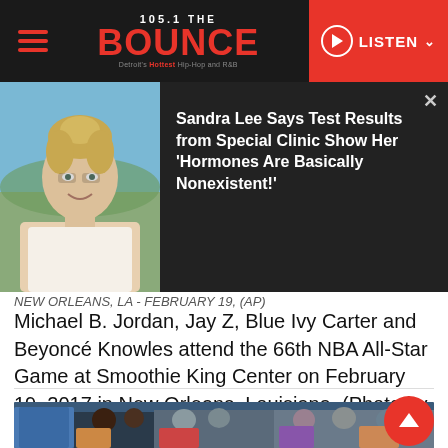105.1 THE BOUNCE — LISTEN
[Figure (photo): Popup card showing a blond woman with hair up, smiling, wearing a light-colored top, against an outdoor background]
Sandra Lee Says Test Results from Special Clinic Show Her 'Hormones Are Basically Nonexistent!'
NEW ORLEANS, LA - FEBRUARY 19, (AP) Michael B. Jordan, Jay Z, Blue Ivy Carter and Beyoncé Knowles attend the 66th NBA All-Star Game at Smoothie King Center on February 19, 2017 in New Orleans, Louisiana. (Photo by The Wargo/Getty Images)
[Figure (photo): Crowd photo at NBA All-Star Game showing spectators in the stands including people in blue and white shirts]